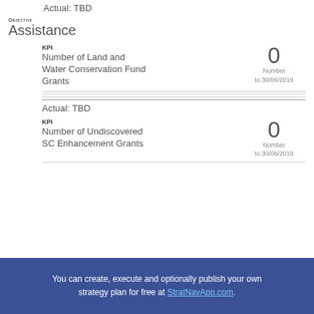Actual: TBD
Objective
Assistance
KPI
Number of Land and Water Conservation Fund Grants
0
Number to 30/06/2019
Actual: TBD
KPI
Number of Undiscovered SC Enhancement Grants
0
Number to 30/06/2019
You can create, execute and optionally publish your own strategy plan for free at StratNavApp.com.